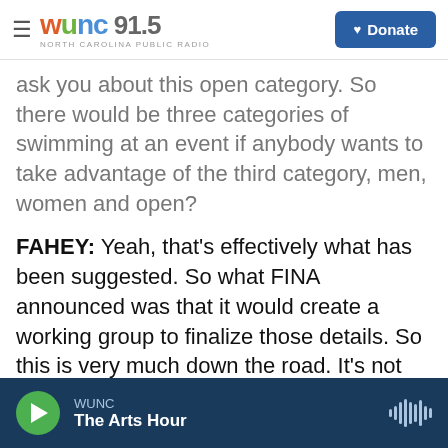WUNC 91.5 NORTH CAROLINA PUBLIC RADIO | Donate
ask you about this open category. So there would be three categories of swimming at an event if anybody wants to take advantage of the third category, men, women and open?
FAHEY: Yeah, that's effectively what has been suggested. So what FINA announced was that it would create a working group to finalize those details. So this is very much down the road. It's not something that is coming into effect straight away. But they're going to spend something like six months discussing this, trying to figure out how to make this happen. And those discussions are only starting today.
WUNC | The Arts Hour